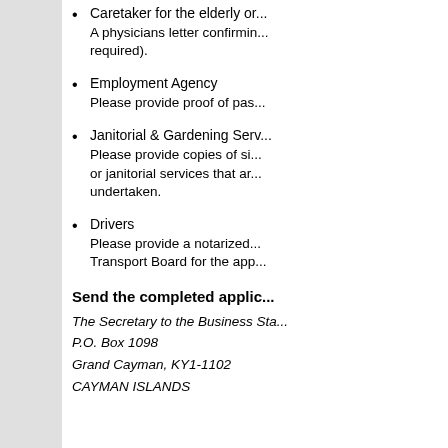Caretaker for the elderly or... A physicians letter confirming... required).
Employment Agency
Please provide proof of pas...
Janitorial & Gardening Serv...
Please provide copies of si... or janitorial services that ar... undertaken.
Drivers
Please provide a notarized...
Transport Board for the app...
Send the completed applic...
The Secretary to the Business Sta...
P.O. Box 1098
Grand Cayman, KY1-1102
CAYMAN ISLANDS